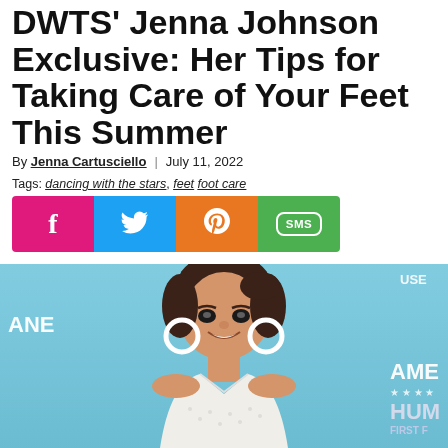DWTS' Jenna Johnson Exclusive: Her Tips for Taking Care of Your Feet This Summer
By Jenna Cartusciello | July 11, 2022
Tags: dancing with the stars, feet, foot care
[Figure (infographic): Social sharing buttons: Facebook (pink/magenta), Twitter (blue), Pinterest (orange), SMS (green)]
[Figure (photo): Jenna Johnson smiling at a red carpet event, wearing white hoop earrings and a white patterned top, in front of a light blue backdrop with partial text reading HUMANE and AMERICAN]